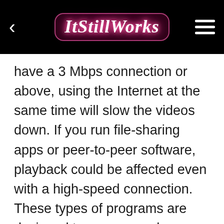ItStillWorks
have a 3 Mbps connection or above, using the Internet at the same time will slow the videos down. If you run file-sharing apps or peer-to-peer software, playback could be affected even with a high-speed connection. These types of programs are designed to use as much bandwidth as possible, which leaves little for Netflix.